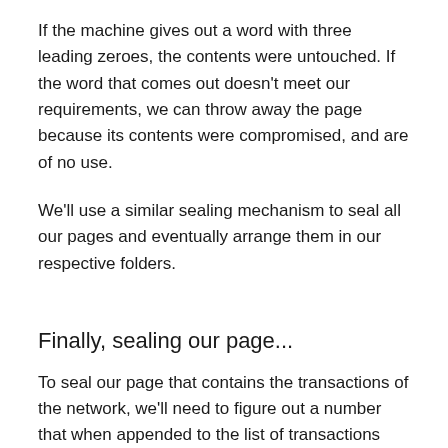If the machine gives out a word with three leading zeroes, the contents were untouched. If the word that comes out doesn't meet our requirements, we can throw away the page because its contents were compromised, and are of no use.
We'll use a similar sealing mechanism to seal all our pages and eventually arrange them in our respective folders.
Finally, sealing our page...
To seal our page that contains the transactions of the network, we'll need to figure out a number that when appended to the list of transactions and fed to the machine, we get a word that starts with three leading zeroes on the right.